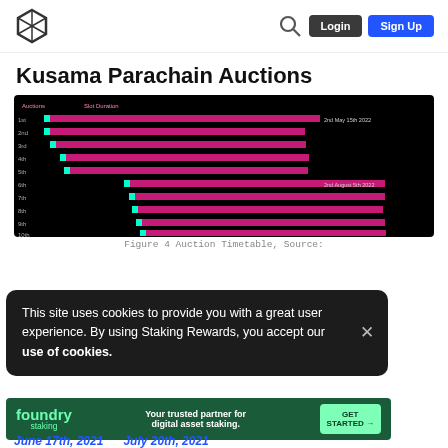Login | Sign Up
Kusama Parachain Auctions
[Figure (bar-chart): Dark background horizontal bar chart showing Kusama parachain auction slots (1st through 10th) with teal start markers and pink/magenta duration bars. Annotations: 2nd May 15th 2022 (for 1st auction), 2nd August 5th 2022 (for 6th auction).]
Figure 4 Auction Timetable, Source:
This site uses cookies to provide you with a great user experience. By using Staking Rewards, you accept our use of cookies.
[Figure (infographic): Foundry Staking advertisement banner: green background with foundry staking logo, text 'Your trusted partner for digital asset staking.' and GET STARTED button with arrow.]
June 17th, 2021    July 20th, 2021